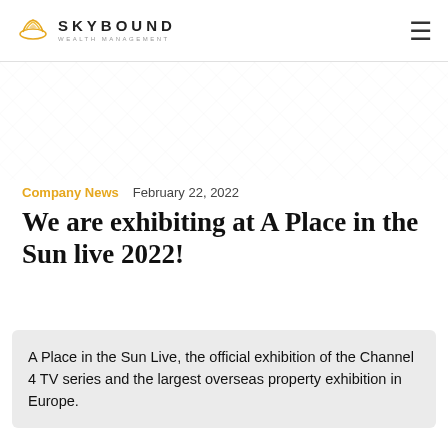SKYBOUND WEALTH MANAGEMENT
Company News   February 22, 2022
We are exhibiting at A Place in the Sun live 2022!
A Place in the Sun Live, the official exhibition of the Channel 4 TV series and the largest overseas property exhibition in Europe.